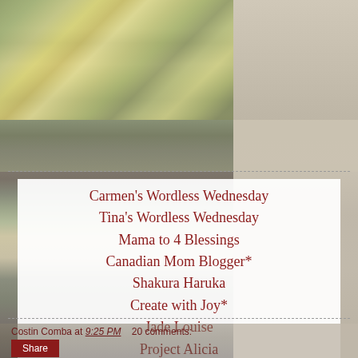[Figure (photo): Garden photo with rocks and colorful flowers (top left)]
[Figure (photo): Muted beige background photo (top right)]
Carmen's Wordless Wednesday
Tina's Wordless Wednesday
Mama to 4 Blessings
Canadian Mom Blogger*
Shakura Haruka
Create with Joy*
Jade Louise
Project Alicia
Costin Comba at 9:25 PM   20 comments:
Share
SUNDAY, APRIL 8, 2012
Blue Dreams